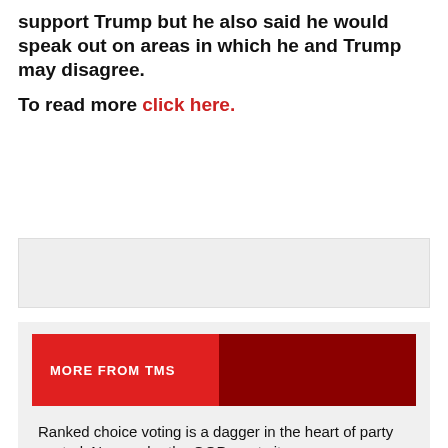support Trump but he also said he would speak out on areas in which he and Trump may disagree.
To read more click here.
[Figure (other): Gray advertisement placeholder box]
MORE FROM TMS
Ranked choice voting is a dagger in the heart of party control. No wonder the GOP wants it gone.
Charlie Pierce, Kenai Peninsula mayor, says he will resign to focus on governor bid